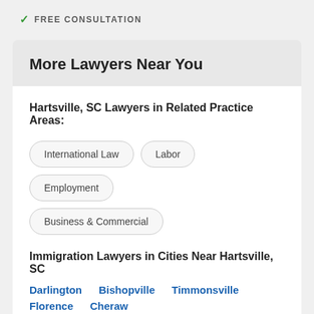✓ FREE CONSULTATION
More Lawyers Near You
Hartsville, SC Lawyers in Related Practice Areas:
International Law
Labor
Employment
Business & Commercial
Immigration Lawyers in Cities Near Hartsville, SC
Darlington  Bishopville  Timmonsville  Florence  Cheraw